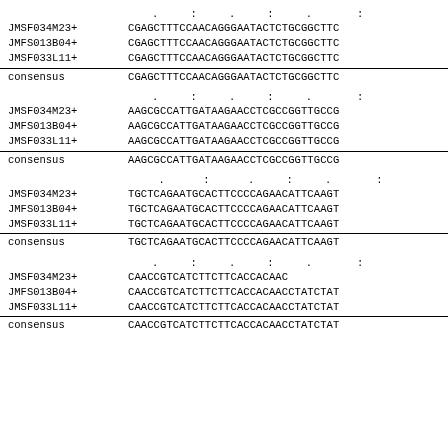Block 1 ruler: .  :  .  :  .  :
JMSF034M23+  CGAGCTTTCCAACAGGGAATACTCTGCGGCTTC
JMFS013B04+  CGAGCTTTCCAACAGGGAATACTCTGCGGCTTC
JMSF033L11+  CGAGCTTTCCAACAGGGAATACTCTGCGGCTTC
consensus    CGAGCTTTCCAACAGGGAATACTCTGCGGCTTC
Block 2 ruler: .  :  .  :  .  :
JMSF034M23+  AAGCGCCATTGATAAGAACCTCGCCGGTTGCCG
JMFS013B04+  AAGCGCCATTGATAAGAACCTCGCCGGTTGCCG
JMSF033L11+  AAGCGCCATTGATAAGAACCTCGCCGGTTGCCG
consensus    AAGCGCCATTGATAAGAACCTCGCCGGTTGCCG
Block 3 ruler: .  :  .  :  .  :
JMSF034M23+  TGCTCAGAATGCACTTCCCCAGAACATTCAAGT
JMFS013B04+  TGCTCAGAATGCACTTCCCCAGAACATTCAAGT
JMSF033L11+  TGCTCAGAATGCACTTCCCCAGAACATTCAAGT
consensus    TGCTCAGAATGCACTTCCCCAGAACATTCAAGT
Block 4 ruler: .  :  .  :  .  :
JMSF034M23+  CAACCGTCATCTTCTTCACCACAAC
JMFS013B04+  CAACCGTCATCTTCTTCACCACAACCTATCTAT
JMSF033L11+  CAACCGTCATCTTCTTCACCACAACCTATCTAT
consensus    CAACCGTCATCTTCTTCACCACAACCTATCTAT